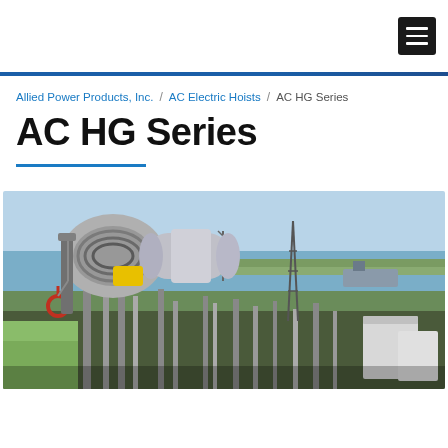Allied Power Products, Inc. navigation menu
Allied Power Products, Inc. / AC Electric Hoists / AC HG Series
AC HG Series
[Figure (photo): Industrial hoist/winch equipment shown in foreground overlaid on aerial photograph of an industrial refinery or petrochemical facility near a waterway, with storage tanks, towers, and port infrastructure visible.]